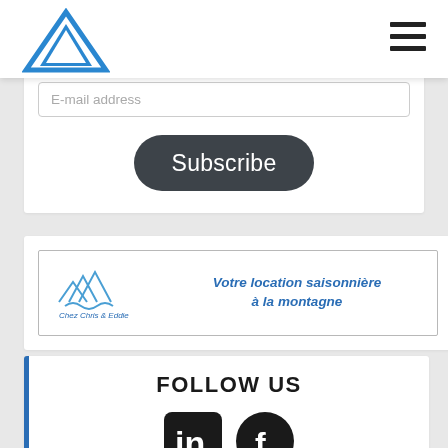[Figure (logo): Blue triangle logo in page header]
[Figure (infographic): Hamburger menu icon (three horizontal lines) in top right of header]
E-mail address
Subscribe
[Figure (logo): Chez Chris & Eddie Les Sybelles mountain rental ad with logo and text: Votre location saisonnière à la montagne]
FOLLOW US
[Figure (infographic): LinkedIn and Facebook social media icons]